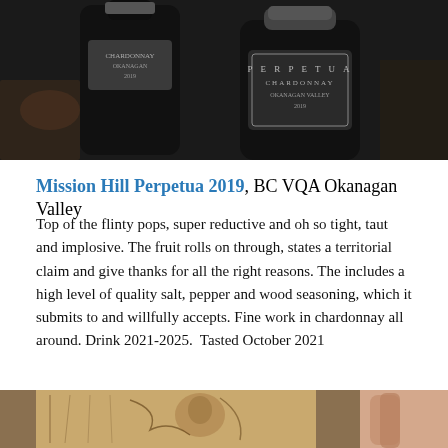[Figure (photo): Photo of two Mission Hill Perpetua Chardonnay 2019 wine bottles from Okanagan Valley, dark bottles with silver/grey labels]
Mission Hill Perpetua 2019, BC VQA Okanagan Valley
Top of the flinty pops, super reductive and oh so tight, taut and implosive. The fruit rolls on through, states a territorial claim and give thanks for all the right reasons. The includes a high level of quality salt, pepper and wood seasoning, which it submits to and willfully accepts. Fine work in chardonnay all around. Drink 2021-2025.  Tasted October 2021
[Figure (photo): Partial photo of a wine bottle label with illustrated artwork, brown and tan tones, visible at bottom of page]